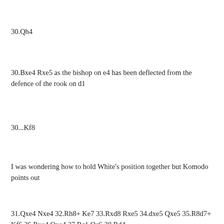30.Qh4
30.Bxe4 Rxe5 as the bishop on e4 has been deflected from the defence of the rook on d1
30...Kf8
I was wondering how to hold White's position together but Komodo points out
31.Qxe4 Nxe4 32.Rh8+ Ke7 33.Rxd8 Rxe5 34.dxe5 Qxe5 35.R8d7+ Kf6 36.Rxe4 Qxe4 37.Rc1 Qc6 38.Rd4